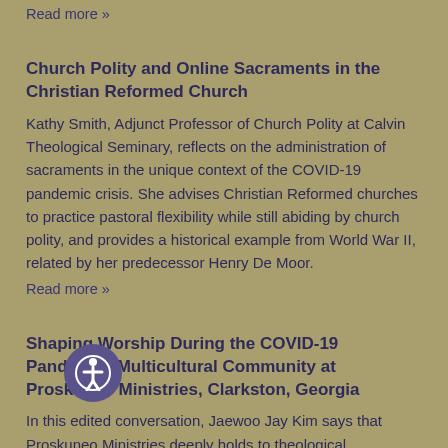Read more »
Church Polity and Online Sacraments in the Christian Reformed Church
Kathy Smith, Adjunct Professor of Church Polity at Calvin Theological Seminary, reflects on the administration of sacraments in the unique context of the COVID-19 pandemic crisis. She advises Christian Reformed churches to practice pastoral flexibility while still abiding by church polity, and provides a historical example from World War II, related by her predecessor Henry De Moor.
Read more »
Shaping Worship During the COVID-19 Pandemic: Multicultural Community at Proskuneo Ministries, Clarkston, Georgia
In this edited conversation, Jaewoo Jay Kim says that Proskuneo Ministries deeply holds to theological convictions and practices of embodied worship. Stay-at-home pandemic orders have upended their typical worship gatherings, but virtual worship doesn't fit who they are as a multicultural worshiping